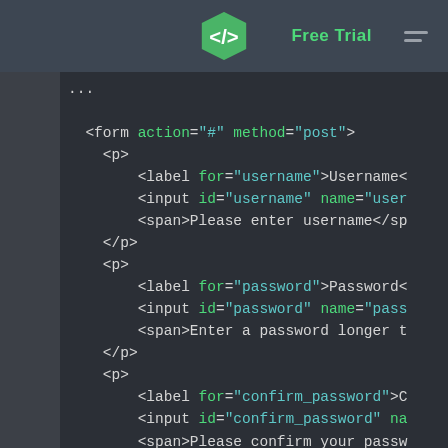Free Trial
[Figure (screenshot): Code editor screenshot showing HTML form code with username, password, and confirm_password fields. Dark theme editor with green and teal syntax highlighting.]